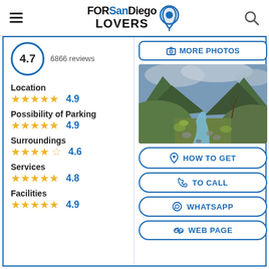FORSanDiego LOVERS
4.7 · 6866 reviews
Location 4.9
Possibility of Parking 4.9
Surroundings 4.6
Services 4.8
Facilities 4.9
[Figure (photo): Landscape photo of a mountain canyon with a stream/river, rocky terrain, green shrubs and trees under a cloudy sky]
MORE PHOTOS
HOW TO GET
TO CALL
WHATSAPP
WEB PAGE